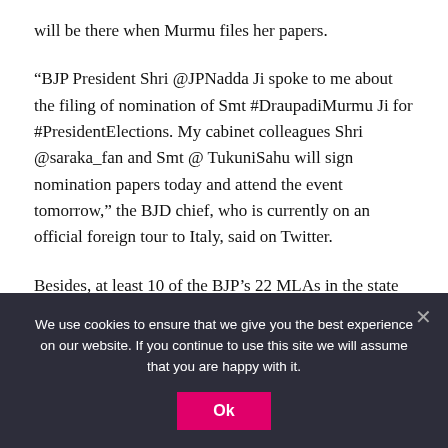will be there when Murmu files her papers.
“BJP President Shri @JPNadda Ji spoke to me about the filing of nomination of Smt #DraupadiMurmu Ji for #PresidentElections. My cabinet colleagues Shri @saraka_fan and Smt @ TukuniSahu will sign nomination papers today and attend the event tomorrow,” the BJD chief, who is currently on an official foreign tour to Italy, said on Twitter.
Besides, at least 10 of the BJP’s 22 MLAs in the state will remain present.
[partially visible text cut off]
We use cookies to ensure that we give you the best experience on our website. If you continue to use this site we will assume that you are happy with it.